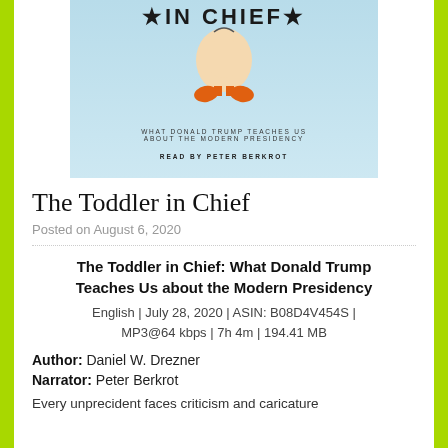[Figure (illustration): Book cover for 'The Toddler in Chief: What Donald Trump Teaches Us About the Modern Presidency', read by Peter Berkrot. Light blue background with cartoon egg-shaped character wearing orange shoes. Title text at top, subtitle and reader credit at bottom.]
The Toddler in Chief
Posted on August 6, 2020
The Toddler in Chief: What Donald Trump Teaches Us about the Modern Presidency
English | July 28, 2020 | ASIN: B08D4V454S | MP3@64 kbps | 7h 4m | 194.41 MB
Author: Daniel W. Drezner
Narrator: Peter Berkrot
Every unprecident faces criticism and caricature